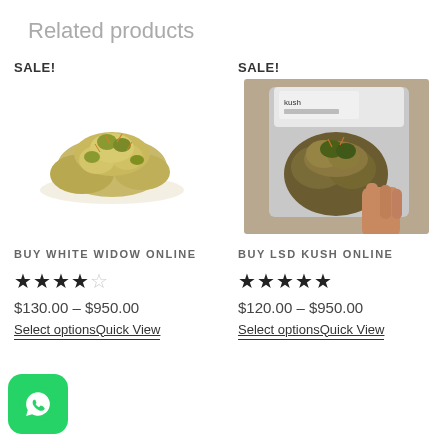Related products
[Figure (photo): Cannabis buds on white background with SALE! badge - Buy White Widow Online product]
[Figure (photo): Hand holding a clear plastic bag of cannabis with SALE! badge - Buy LSD Kush Online product]
BUY WHITE WIDOW ONLINE
★★★★☆
$130.00 – $950.00
Select optionsQuick View
BUY LSD KUSH ONLINE
★★★★★
$120.00 – $950.00
Select optionsQuick View